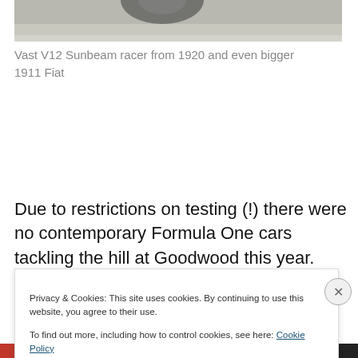[Figure (photo): Partial top of a vintage racing car photograph, showing wheel/tire area on a concrete surface]
Vast V12 Sunbeam racer from 1920 and even bigger 1911 Fiat
Due to restrictions on testing (!) there were no contemporary Formula One cars tackling the hill at Goodwood this year. That did not stop some of the teams bringing cars for static display or bringing cars from
Privacy & Cookies: This site uses cookies. By continuing to use this website, you agree to their use.
To find out more, including how to control cookies, see here: Cookie Policy
Close and accept